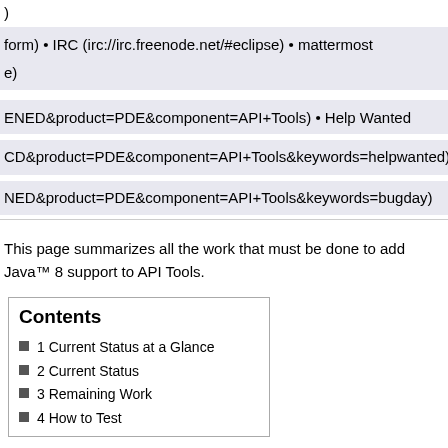)
form) • IRC (irc://irc.freenode.net/#eclipse) • mattermost
e)
ENED&product=PDE&component=API+Tools) • Help Wanted
CD&product=PDE&component=API+Tools&keywords=helpwanted)
NED&product=PDE&component=API+Tools&keywords=bugday)
This page summarizes all the work that must be done to add Java™ 8 support to API Tools.
Contents
1 Current Status at a Glance
2 Current Status
3 Remaining Work
4 How to Test